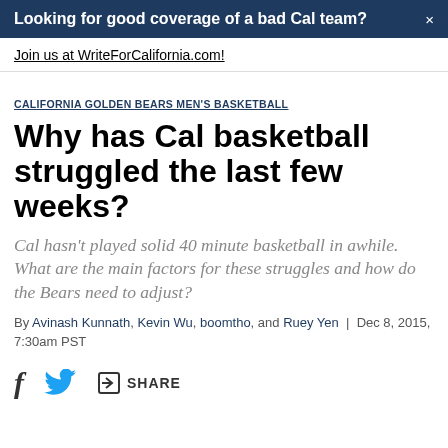Looking for good coverage of a bad Cal team?
Join us at WriteForCalifornia.com!
CALIFORNIA GOLDEN BEARS MEN'S BASKETBALL
Why has Cal basketball struggled the last few weeks?
Cal hasn't played solid 40 minute basketball in awhile. What are the main factors for these struggles and how do the Bears need to adjust?
By Avinash Kunnath, Kevin Wu, boomtho, and Ruey Yen | Dec 8, 2015, 7:30am PST
SHARE